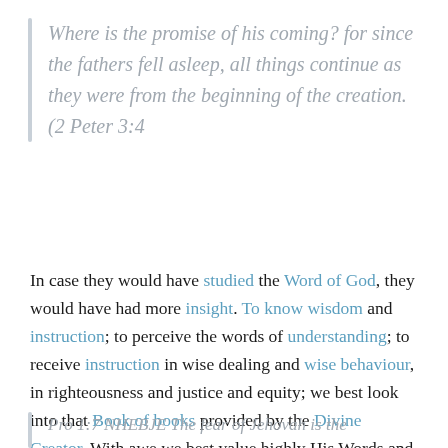Where is the promise of his coming? for since the fathers fell asleep, all things continue as they were from the beginning of the creation. (2 Peter 3:4
In case they would have studied the Word of God, they would have had more insight. To know wisdom and instruction; to perceive the words of understanding; to receive instruction in wise dealing and wise behaviour, in righteousness and justice and equity; we best look into that Book of books provided by the Divine Creator. With awe we best value highly His Words and His advice.
Pro 1:7 NHEBJE The fear of Jehovah is the